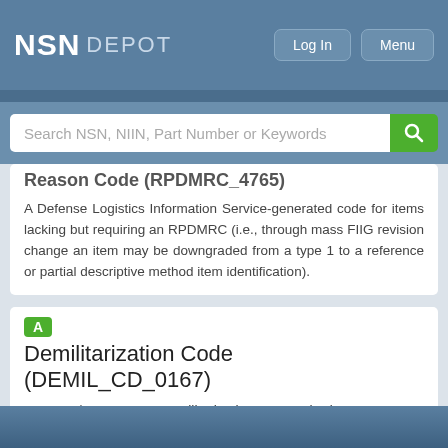NSN DEPOT
[Figure (screenshot): Search bar with placeholder 'Search NSN, NIIN, Part Number or Keywords' and green search button]
Reason Code (RPDMRC_4765)
A Defense Logistics Information Service-generated code for items lacking but requiring an RPDMRC (i.e., through mass FIIG revision change an item may be downgraded from a type 1 to a reference or partial descriptive method item identification).
Demilitarization Code (DEMIL_CD_0167)
Non-MLI/ Non-SLI — Demilitarization not required.